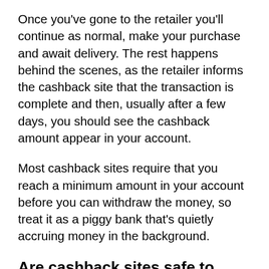Once you've gone to the retailer you'll continue as normal, make your purchase and await delivery. The rest happens behind the scenes, as the retailer informs the cashback site that the transaction is complete and then, usually after a few days, you should see the cashback amount appear in your account.
Most cashback sites require that you reach a minimum amount in your account before you can withdraw the money, so treat it as a piggy bank that's quietly accruing money in the background.
Are cashback sites safe to use?
Well-known cashback sites, including the ones mentioned above, have been around for a number of years, so their legitimacy is beyond doubt.